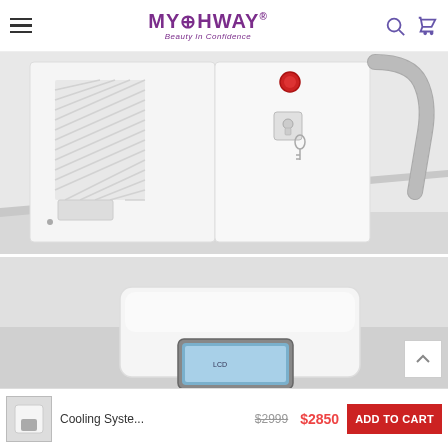MYOHWAY - Beauty In Confidence
[Figure (photo): Close-up of a white medical/beauty cooling system machine showing ventilation grilles on the left side, a red emergency stop button and key lock on the front panel, and a flexible gray hose on the right side. The machine sits on a white surface.]
[Figure (photo): Second product image showing the top portion of a white cooling system machine with a gray touchscreen display panel mounted on the front.]
Cooling Syste... $2999 $2850 ADD TO CART